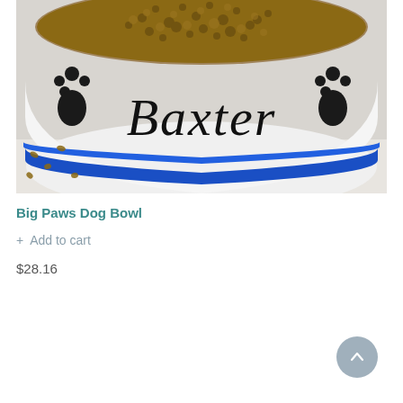[Figure (photo): A white ceramic dog bowl with black paw print decorations and the name 'Baxter' written in black lettering on the side, with a blue rim at the base. The bowl is filled with dry dog kibble and some pieces are scattered on the surface around it.]
Big Paws Dog Bowl
+ Add to cart
$28.16